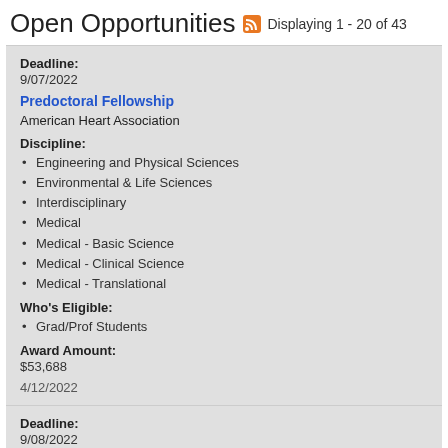Open Opportunities
Displaying 1 - 20 of 43
Deadline: 9/07/2022
Predoctoral Fellowship
American Heart Association
Discipline:
Engineering and Physical Sciences
Environmental & Life Sciences
Interdisciplinary
Medical
Medical - Basic Science
Medical - Clinical Science
Medical - Translational
Who's Eligible:
Grad/Prof Students
Award Amount: $53,688
4/12/2022
Deadline: 9/08/2022